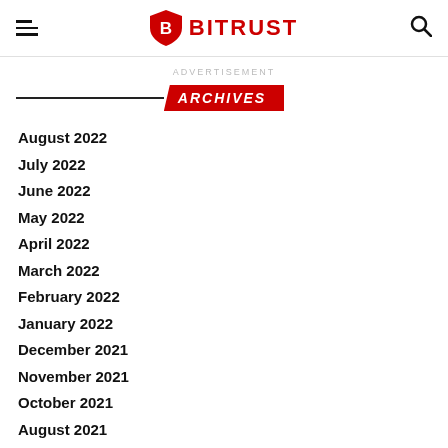BITRUST
ADVERTISEMENT
ARCHIVES
August 2022
July 2022
June 2022
May 2022
April 2022
March 2022
February 2022
January 2022
December 2021
November 2021
October 2021
August 2021